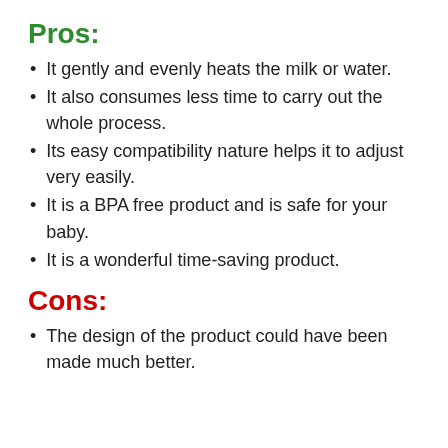Pros:
It gently and evenly heats the milk or water.
It also consumes less time to carry out the whole process.
Its easy compatibility nature helps it to adjust very easily.
It is a BPA free product and is safe for your baby.
It is a wonderful time-saving product.
Cons:
The design of the product could have been made much better.